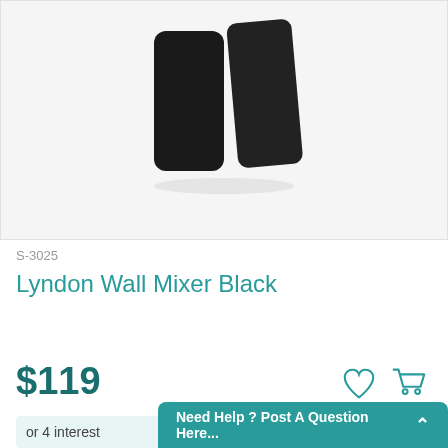[Figure (photo): Product photo of Lyndon Wall Mixer Black — two black rectangular panels/mixer components shown against a light grey background]
S-3025
Lyndon Wall Mixer Black
$119
or 4 interest
Need Help ? Post A Question Here...